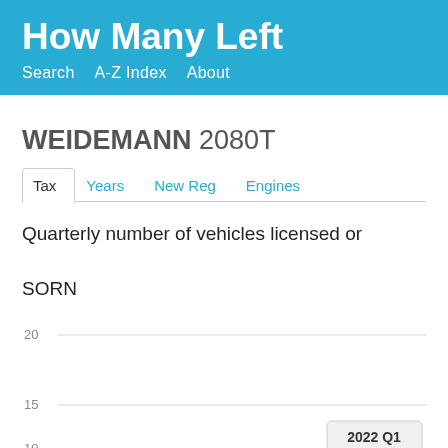How Many Left
Search   A-Z Index   About
WEIDEMANN 2080T
Tax   Years   New Reg   Engines
Quarterly number of vehicles licensed or SORN
[Figure (line-chart): Partially visible line chart with y-axis showing values 20 and 15, and a tooltip showing 2022 Q1]